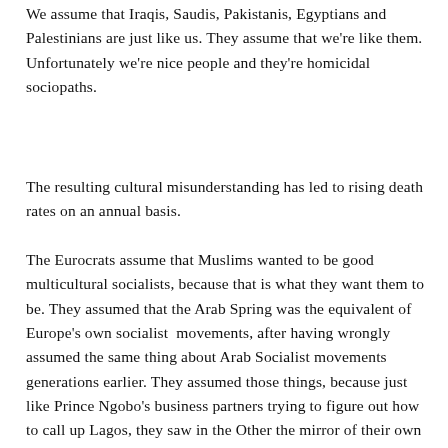We assume that Iraqis, Saudis, Pakistanis, Egyptians and Palestinians are just like us. They assume that we're like them. Unfortunately we're nice people and they're homicidal sociopaths.
The resulting cultural misunderstanding has led to rising death rates on an annual basis.
The Eurocrats assume that Muslims wanted to be good multicultural socialists, because that is what they want them to be. They assumed that the Arab Spring was the equivalent of Europe's own socialist  movements, after having wrongly assumed the same thing about Arab Socialist movements generations earlier. They assumed those things, because just like Prince Ngobo's business partners trying to figure out how to call up Lagos, they saw in the Other the mirror of their own desires.